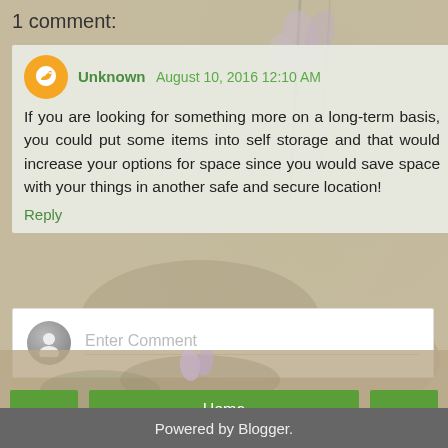1 comment:
Unknown August 10, 2016 12:10 AM
If you are looking for something more on a long-term basis, you could put some items into self storage and that would increase your options for space since you would save space with your things in another safe and secure location!
Reply
Enter Comment
Home
View web version
Powered by Blogger.